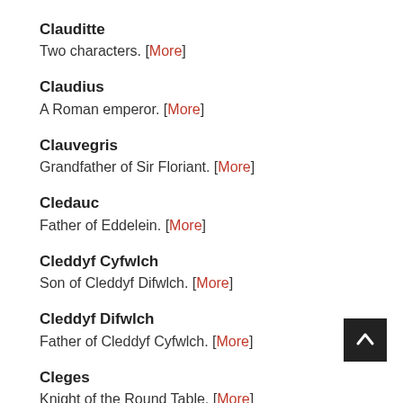Clauditte
Two characters. [More]
Claudius
A Roman emperor. [More]
Clauvegris
Grandfather of Sir Floriant. [More]
Cledauc
Father of Eddelein. [More]
Cleddyf Cyfwlch
Son of Cleddyf Difwlch. [More]
Cleddyf Difwlch
Father of Cleddyf Cyfwlch. [More]
Cleges
Knight of the Round Table. [More]